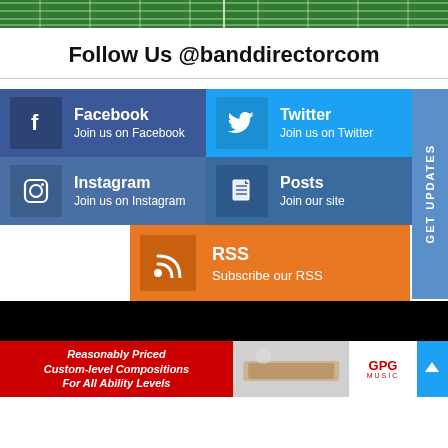[Figure (illustration): Football field banner at top of page]
Follow Us @banddirectorcom
[Figure (infographic): Social media follow widget with Facebook, Twitter, Instagram, Posts, and RSS tiles, plus GET UPDATES sidebar tab]
[Figure (infographic): Footer area with red advertisement for GPG Music: Reasonably Priced Custom-level Compositions For All Ability Levels, photo, GPG Music logo, and blue arrow button]